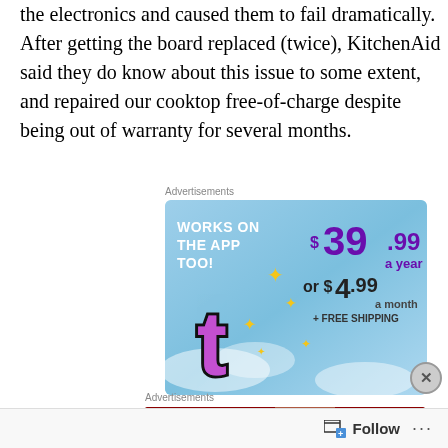the electronics and caused them to fail dramatically. After getting the board replaced (twice), KitchenAid said they do know about this issue to some extent, and repaired our cooktop free-of-charge despite being out of warranty for several months.
Advertisements
[Figure (infographic): Advertisement for a service: 'WORKS ON THE APP TOO!' with pricing $39.99 a year or $4.99 a month + FREE SHIPPING, featuring a Tumblr-style 't' logo with sparkle stars on a blue sky background.]
Advertisements
[Figure (infographic): Advertisement banner with 'KISS BORING' text on dark red background with a SHOP NOW button and a person's image.]
Follow ...